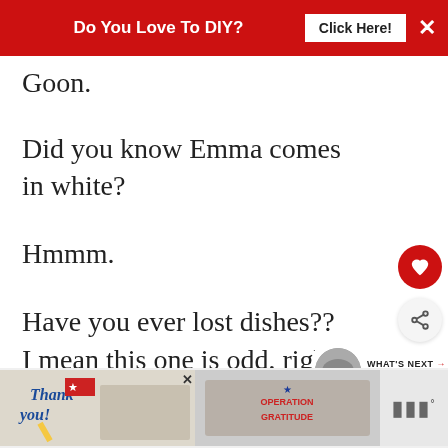Do You Love To DIY? Click Here!
Goon.
Did you know Emma comes in white?
Hmmm.
Have you ever lost dishes?? I mean this one is odd, right?
[Figure (screenshot): Bottom advertisement banner featuring 'Thank you!' text with military imagery and Operation Gratitude logo]
WHAT'S NEXT → Do You Dish?